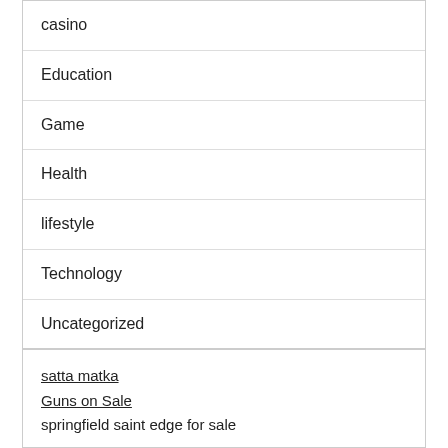casino
Education
Game
Health
lifestyle
Technology
Uncategorized
satta matka
Guns on Sale
springfield saint edge for sale